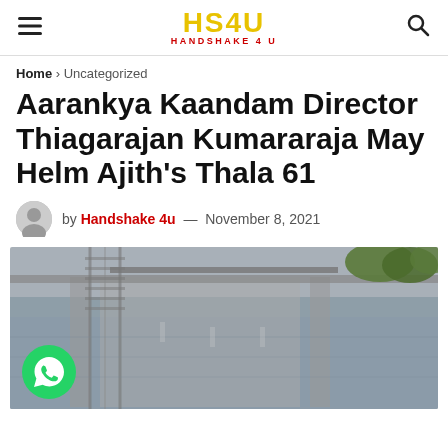HS4U HANDSHAKE 4U
Home > Uncategorized
Aarankya Kaandam Director Thiagarajan Kumararaja May Helm Ajith’s Thala 61
by Handshake 4u — November 8, 2021
[Figure (photo): Aerial view of flooded highway/road with water surrounding it, green trees visible in background. WhatsApp share button overlay in bottom left.]